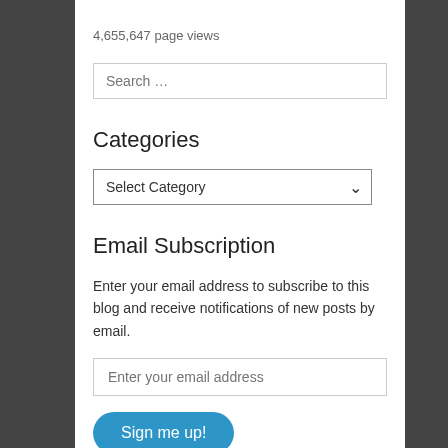4,655,647 page views
Search …
Categories
Select Category
Email Subscription
Enter your email address to subscribe to this blog and receive notifications of new posts by email.
Enter your email address
Sign me up!